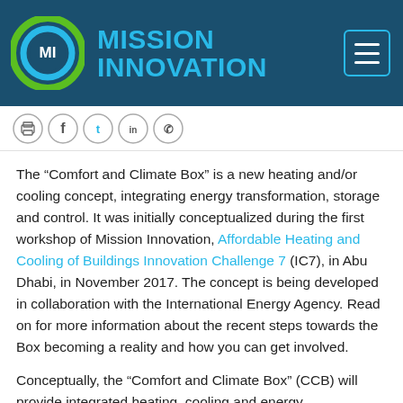MISSION INNOVATION
[Figure (logo): Mission Innovation logo: circular icon with MI letters in green and blue rings, next to 'MISSION INNOVATION' text in blue on dark teal header background]
The “Comfort and Climate Box” is a new heating and/or cooling concept, integrating energy transformation, storage and control. It was initially conceptualized during the first workshop of Mission Innovation, Affordable Heating and Cooling of Buildings Innovation Challenge 7 (IC7), in Abu Dhabi, in November 2017. The concept is being developed in collaboration with the International Energy Agency. Read on for more information about the recent steps towards the Box becoming a reality and how you can get involved.
Conceptually, the “Comfort and Climate Box” (CCB) will provide integrated heating, cooling and energy